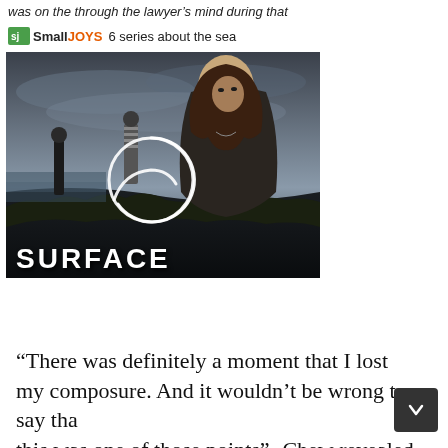was on the through the lawyer's mind during that
SmallJOYS   6 series about the sea
[Figure (photo): Promotional image for the TV show 'Surface'. Three people standing on a dark, grassy coastal landscape under a dramatic cloudy sky. A white circular swirl/loading icon is overlaid on the center of the image. The word 'SURFACE' appears in large bold white text at the bottom left.]
“There was definitely a moment that I lost my composure. And it wouldn’t be wrong to say that this was one of those points”- Chew revealed